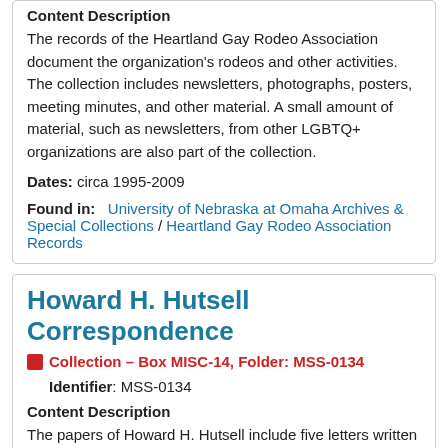Content Description
The records of the Heartland Gay Rodeo Association document the organization's rodeos and other activities. The collection includes newsletters, photographs, posters, meeting minutes, and other material. A small amount of material, such as newsletters, from other LGBTQ+ organizations are also part of the collection.
Dates: circa 1995-2009
Found in: University of Nebraska at Omaha Archives & Special Collections / Heartland Gay Rodeo Association Records
Howard H. Hutsell Correspondence
Collection – Box MISC-14, Folder: MSS-0134
Identifier: MSS-0134
Content Description
The papers of Howard H. Hutsell include five letters written by Captain Hutsell to Melba "Ginger" Hutsell,